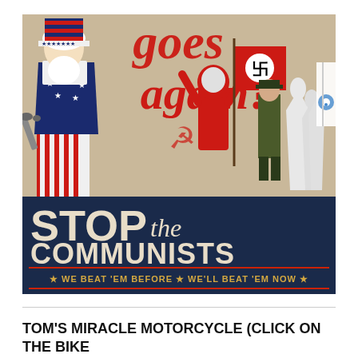[Figure (illustration): Anti-communist propaganda poster styled as vintage WWII-era artwork. Shows Uncle Sam figure in American flag-themed clothing holding a wrench, with text 'goes again?' in red script at top. Center-right shows figures including a Soviet cosmonaut, a Nazi soldier, and KKK members. Bottom dark blue banner reads 'STOP the COMMUNISTS' with tagline '★ WE BEAT 'EM BEFORE ★ WE'LL BEAT 'EM NOW ★' in gold on red-bordered strip.]
TOM'S MIRACLE MOTORCYCLE (CLICK ON THE BIKE